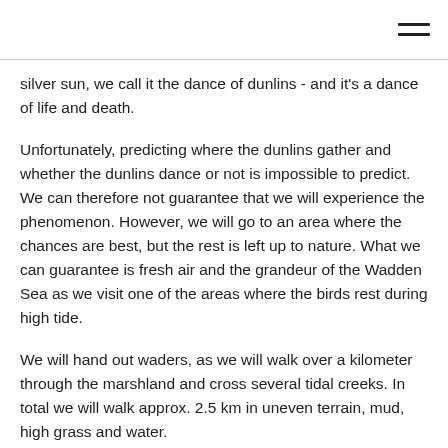silver sun, we call it the dance of dunlins - and it's a dance of life and death.
Unfortunately, predicting where the dunlins gather and whether the dunlins dance or not is impossible to predict. We can therefore not guarantee that we will experience the phenomenon. However, we will go to an area where the chances are best, but the rest is left up to nature. What we can guarantee is fresh air and the grandeur of the Wadden Sea as we visit one of the areas where the birds rest during high tide.
We will hand out waders, as we will walk over a kilometer through the marshland and cross several tidal creeks. In total we will walk approx. 2.5 km in uneven terrain, mud, high grass and water.